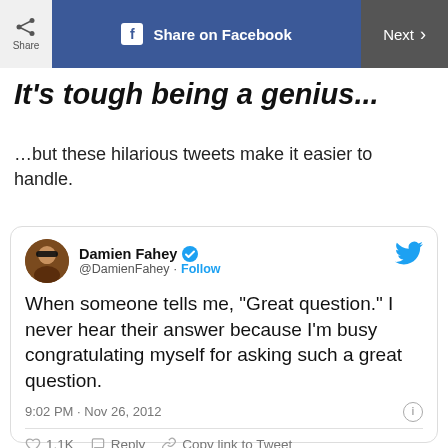Share on Facebook | Next
It's tough being a genius...
...but these hilarious tweets make it easier to handle.
Damien Fahey @DamienFahey · Follow
When someone tells me, "Great question." I never hear their answer because I'm busy congratulating myself for asking such a great question.
9:02 PM · Nov 26, 2012
❤ 1.1K  Reply  Copy link to Tweet
Read 17 replies